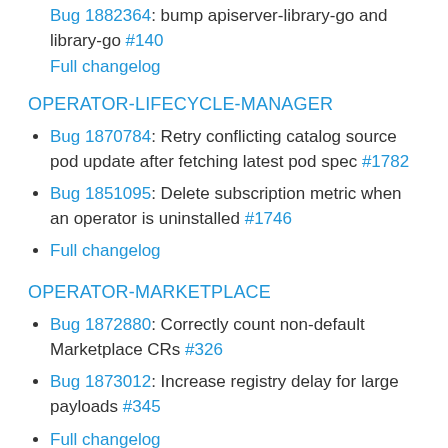Bug 1882364: bump apiserver-library-go and library-go #140
Full changelog
OPERATOR-LIFECYCLE-MANAGER
Bug 1870784: Retry conflicting catalog source pod update after fetching latest pod spec #1782
Bug 1851095: Delete subscription metric when an operator is uninstalled #1746
Full changelog
OPERATOR-MARKETPLACE
Bug 1872880: Correctly count non-default Marketplace CRs #326
Bug 1873012: Increase registry delay for large payloads #345
Full changelog